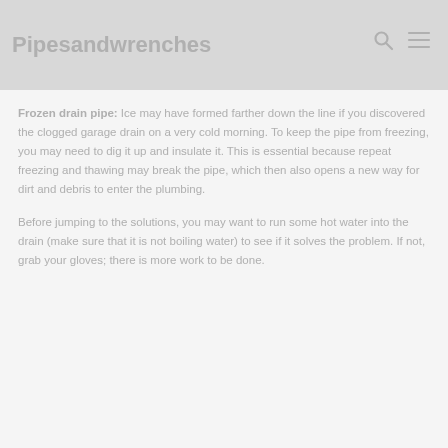Pipesandwrenches
Frozen drain pipe: Ice may have formed farther down the line if you discovered the clogged garage drain on a very cold morning. To keep the pipe from freezing, you may need to dig it up and insulate it. This is essential because repeat freezing and thawing may break the pipe, which then also opens a new way for dirt and debris to enter the plumbing.
Before jumping to the solutions, you may want to run some hot water into the drain (make sure that it is not boiling water) to see if it solves the problem. If not, grab your gloves; there is more work to be done.